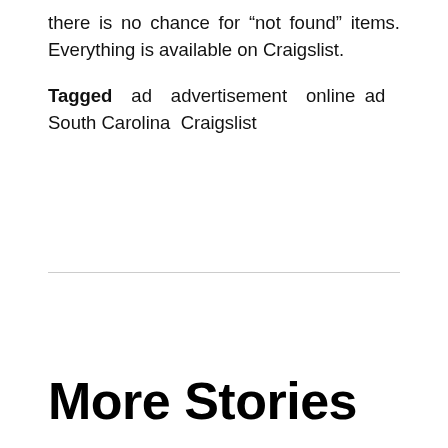there is no chance for “not found” items. Everything is available on Craigslist.
Tagged ad advertisement online ad South Carolina Craigslist
More Stories